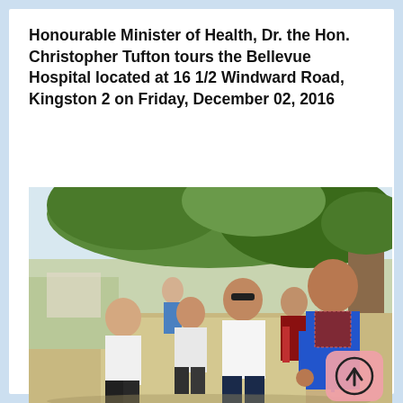Honourable Minister of Health, Dr. the Hon. Christopher Tufton tours the Bellevue Hospital located at 16 1/2 Windward Road, Kingston 2 on Friday, December 02, 2016
[Figure (photo): Group of people including officials walking outdoors on a path near trees. A woman in a bright blue blazer and patterned blouse is in the foreground on the right. A man in a white shirt with sunglasses walks in the center. Others walk behind them. A scroll-up button (pink rounded square with upward arrow) overlays the bottom right of the image.]